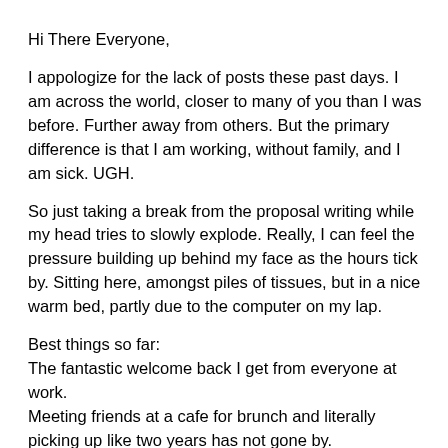Hi There Everyone,
I appologize for the lack of posts these past days. I am across the world, closer to many of you than I was before. Further away from others. But the primary difference is that I am working, without family, and I am sick. UGH.
So just taking a break from the proposal writing while my head tries to slowly explode. Really, I can feel the pressure building up behind my face as the hours tick by. Sitting here, amongst piles of tissues, but in a nice warm bed, partly due to the computer on my lap.
Best things so far:
The fantastic welcome back I get from everyone at work.
Meeting friends at a cafe for brunch and literally picking up like two years has not gone by.
The wall of cold remedies at the Drug store... an entire wall!!!
I can look, read, and contemplate every possible treatment for what ails me.